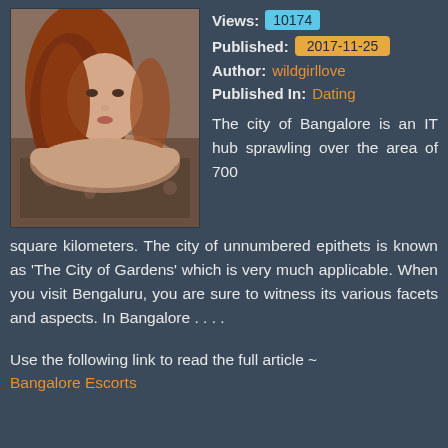[Figure (photo): Photo of a woman with red/auburn hair lying on a bed with floral bedding]
Views: 10174
Published: 2017-11-25
Author: wildgirllove
Published In: Dating
The city of Bangalore is an IT hub sprawling over the area of 700 square kilometers. The city of unnumbered epithets is known as 'The City of Gardens' which is very much applicable. When you visit Bengaluru, you are sure to witness its various facets and aspects. In Bangalore . . . .
Use the following link to read the full article ~ Bangalore Escorts